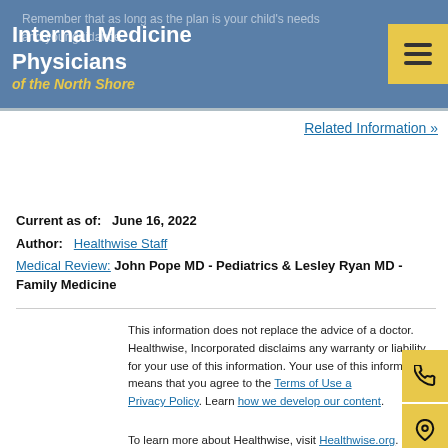Internal Medicine Physicians of the North Shore
Remember that as long as the plan is your child's needs and your guidance.
Related Information »
Current as of:   June 16, 2022
Author:  Healthwise Staff
Medical Review:  John Pope MD - Pediatrics & Lesley Ryan MD - Family Medicine
This information does not replace the advice of a doctor. Healthwise, Incorporated disclaims any warranty or liability for your use of this information. Your use of this information means that you agree to the Terms of Use and Privacy Policy. Learn how we develop our content.
To learn more about Healthwise, visit Healthwise.org.
© 1995-2022 Healthwise, Incorporated. Healthwise,